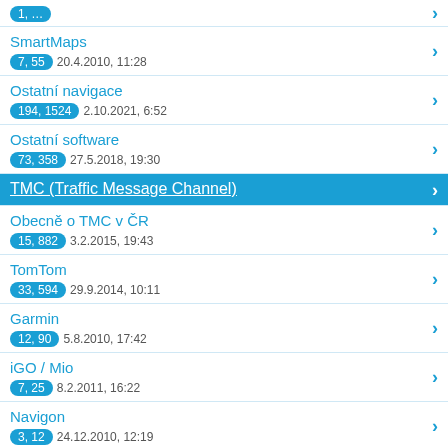SmartMaps | 7, 55 | 20.4.2010, 11:28
Ostatní navigace | 194, 1524 | 2.10.2021, 6:52
Ostatní software | 73, 358 | 27.5.2018, 19:30
TMC (Traffic Message Channel)
Obecně o TMC v ČR | 15, 882 | 3.2.2015, 19:43
TomTom | 33, 594 | 29.9.2014, 10:11
Garmin | 12, 90 | 5.8.2010, 17:42
iGO / Mio | 7, 25 | 8.2.2011, 16:22
Navigon | 3, 12 | 24.12.2010, 12:19